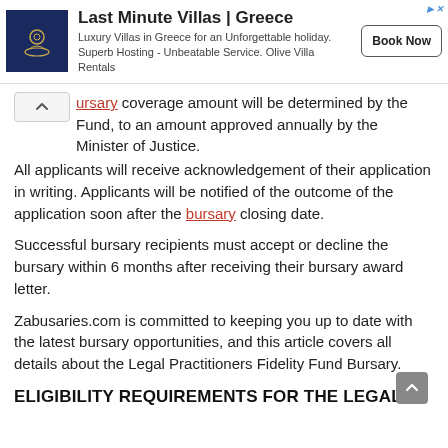[Figure (other): Advertisement banner for Last Minute Villas Greece with logo, description text, and Book Now button]
bursary coverage amount will be determined by the Fund, to an amount approved annually by the Minister of Justice.
All applicants will receive acknowledgement of their application in writing. Applicants will be notified of the outcome of the application soon after the bursary closing date.
Successful bursary recipients must accept or decline the bursary within 6 months after receiving their bursary award letter.
Zabusaries.com is committed to keeping you up to date with the latest bursary opportunities, and this article covers all details about the Legal Practitioners Fidelity Fund Bursary.
ELIGIBILITY REQUIREMENTS FOR THE LEGAL